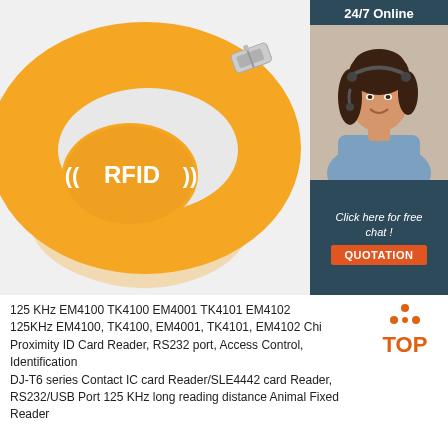[Figure (photo): Orange RFID silicone wristband with white RFID logo text and signal arcs on the face, with a metal buckle clasp. Shown on white/light grey background.]
[Figure (photo): Customer service representative woman wearing headset, smiling. Shown in a dark teal panel with '24/7 Online' header and 'Click here for free chat!' text, plus an orange QUOTATION button.]
125 KHz EM4100 TK4100 EM4001 TK4101 EM4102
125KHz EM4100, TK4100, EM4001, TK4101, EM4102 Chip
Proximity ID Card Reader, RS232 port, Access Control, Identification
DJ-T6 series Contact IC card Reader/SLE4442 card Reader,
RS232/USB Port 125 KHz long reading distance Animal Fixed Reader
[Figure (logo): TOP logo with orange dots arranged in triangle above the word TOP in orange letters]